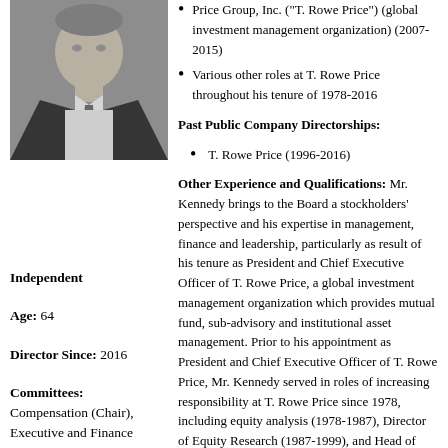[Figure (photo): Black and white headshot photo of a man in a suit and tie]
Price Group, Inc. ("T. Rowe Price") (global investment management organization) (2007-2015)
Various other roles at T. Rowe Price throughout his tenure of 1978-2016
Past Public Company Directorships:
Independent
T. Rowe Price (1996-2016)
Age: 64
Director Since: 2016
Committees:
Compensation (Chair),
Executive and Finance
Other Experience and Qualifications: Mr. Kennedy brings to the Board a stockholders' perspective and his expertise in management, finance and leadership, particularly as result of his tenure as President and Chief Executive Officer of T. Rowe Price, a global investment management organization which provides mutual fund, sub-advisory and institutional asset management. Prior to his appointment as President and Chief Executive Officer of T. Rowe Price, Mr. Kennedy served in roles of increasing responsibility at T. Rowe Price since 1978, including equity analysis (1978-1987), Director of Equity Research (1987-1999), and Head of U.S. Equities (1997-2006). Mr. Kennedy also brings executive compensation experience to the Board, having been involved in management compensation since 1987, and served the Chairman of the...